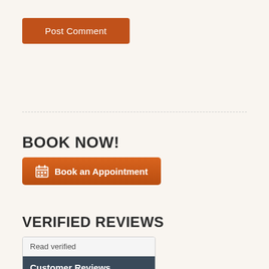Post Comment
BOOK NOW!
Book an Appointment
VERIFIED REVIEWS
[Figure (other): Genbook customer reviews widget showing 'Read verified' text, 'Customer Reviews' label, 4 gold stars and Genbook logo on dark background]